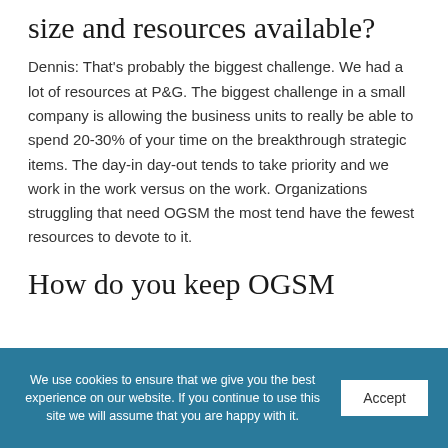size and resources available?
Dennis: That’s probably the biggest challenge. We had a lot of resources at P&G. The biggest challenge in a small company is allowing the business units to really be able to spend 20-30% of your time on the breakthrough strategic items. The day-in day-out tends to take priority and we work in the work versus on the work. Organizations struggling that need OGSM the most tend have the fewest resources to devote to it.
How do you keep OGSM
We use cookies to ensure that we give you the best experience on our website. If you continue to use this site we will assume that you are happy with it.